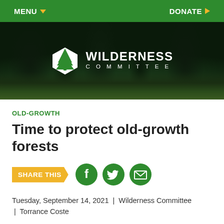MENU ▼    DONATE →
[Figure (logo): Wilderness Committee logo with tree hexagon icon and text WILDERNESS COMMITTEE on a dark forest background hero banner]
OLD-GROWTH
Time to protect old-growth forests
SHARE THIS [Facebook] [Twitter] [Email]
Tuesday, September 14, 2021  |  Wilderness Committee  |  Torrance Coste